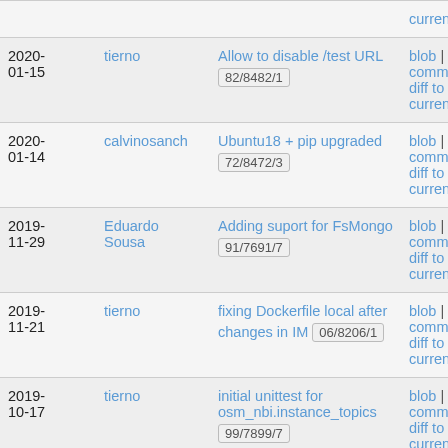| Date | Author | Commit | Links |
| --- | --- | --- | --- |
|  |  |  | current |
| 2020-01-15 | tierno | Allow to disable /test URL
82/8482/1 | blob | commitdiff | diff to current |
| 2020-01-14 | calvinosanch | Ubuntu18 + pip upgraded
72/8472/3 | blob | commitdiff | diff to current |
| 2019-11-29 | Eduardo Sousa | Adding suport for FsMongo
91/7691/7 | blob | commitdiff | diff to current |
| 2019-11-21 | tierno | fixing Dockerfile local after changes in IM  06/8206/1 | blob | commitdiff | diff to current |
| 2019-10-17 | tierno | initial unittest for osm_nbi.instance_topics
99/7899/7 | blob | commitdiff | diff to current |